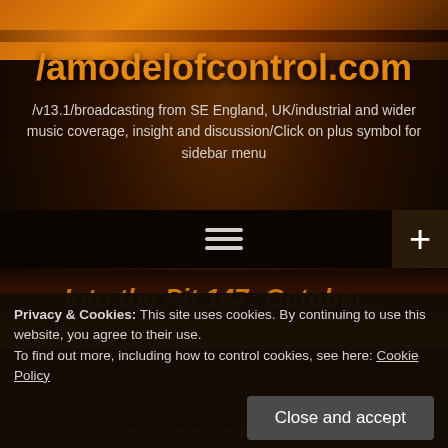[Figure (screenshot): Website header with orange flame-like background gradient]
/amodelofcontrol.com
/v13.1/broadcasting from SE England, UK/industrial and wider music coverage, insight and discussion/Click on plus symbol for sidebar menu
[Figure (other): Navigation bar with hamburger menu icon (three horizontal lines) and a plus button on the right]
Into the Pit 147: October...
Privacy & Cookies: This site uses cookies. By continuing to use this website, you agree to their use.
To find out more, including how to control cookies, see here: Cookie Policy
Close and accept
Posted on September 30, 2012 By adam